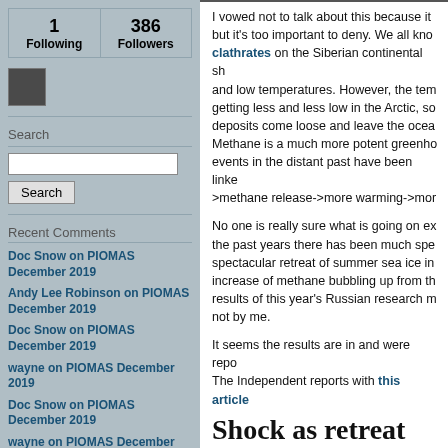1 Following   386 Followers
[Figure (photo): Small avatar photo of a person]
Search
Search button and input field
Recent Comments
Doc Snow on PIOMAS December 2019
Andy Lee Robinson on PIOMAS December 2019
Doc Snow on PIOMAS December 2019
wayne on PIOMAS December 2019
Doc Snow on PIOMAS December 2019
wayne on PIOMAS December 2019
I vowed not to talk about this because it but it's too important to deny. We all know clathrates on the Siberian continental sh and low temperatures. However, the tem getting less and less low in the Arctic, so deposits come loose and leave the ocea Methane is a much more potent greenho events in the distant past have been linko >methane release->more warming->mor
No one is really sure what is going on ex the past years there has been much spe spectacular retreat of summer sea ice in increase of methane bubbling up from th results of this year's Russian research m not by me.
It seems the results are in and were repo The Independent reports with this article
Shock as retreat releases deadly g
Russian research team aston